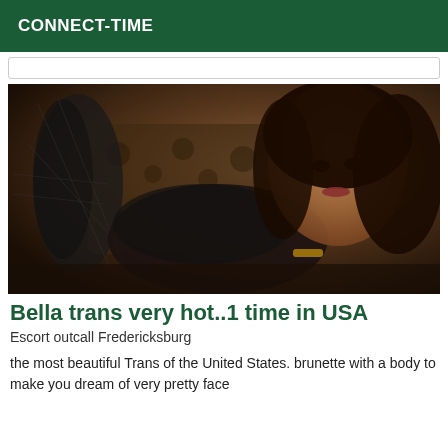CONNECT-TIME
[Figure (photo): A brunette woman in black lingerie and fishnet stockings posing on a leopard-print surface]
Bella trans very hot..1 time in USA
Escort outcall Fredericksburg
the most beautiful Trans of the United States. brunette with a body to make you dream of very pretty face